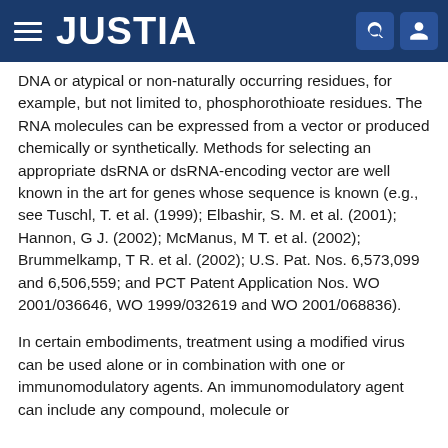JUSTIA
DNA or atypical or non-naturally occurring residues, for example, but not limited to, phosphorothioate residues. The RNA molecules can be expressed from a vector or produced chemically or synthetically. Methods for selecting an appropriate dsRNA or dsRNA-encoding vector are well known in the art for genes whose sequence is known (e.g., see Tuschl, T. et al. (1999); Elbashir, S. M. et al. (2001); Hannon, G J. (2002); McManus, M T. et al. (2002); Brummelkamp, T R. et al. (2002); U.S. Pat. Nos. 6,573,099 and 6,506,559; and PCT Patent Application Nos. WO 2001/036646, WO 1999/032619 and WO 2001/068836).
In certain embodiments, treatment using a modified virus can be used alone or in combination with one or immunomodulatory agents. An immunomodulatory agent can include any compound, molecule or